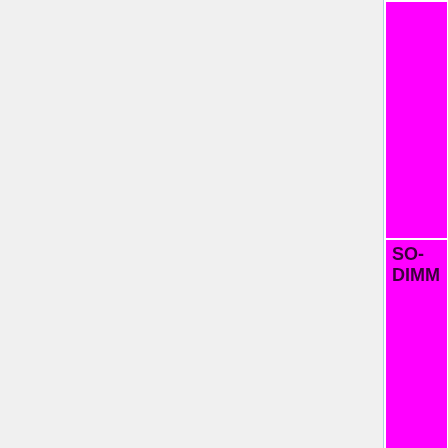|  | No=red | WIP=orange | Untested=yellow | N/A=lightgray | yellow }}" | N/A |
| SO-DIMM | OK=lime | TODO=red | No=red | WIP=orange | Untested=yellow | N/A=lightgray | yellow }}" | N/A |
| DDR | OK=lime | TODO=red | No=red | WIP=orange | Untested=yellow | N/A=lightgra | yellow }}" | N/A |
| DDR2 | OK=lime | TODO=red | No=red | WIP=orange |